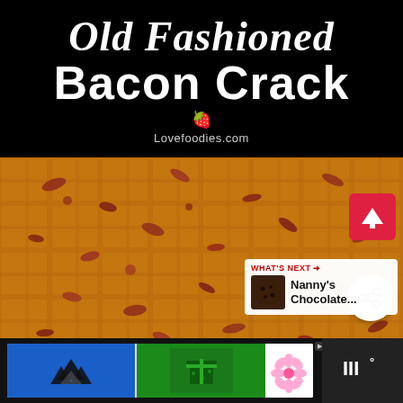Old Fashioned Bacon Crack
Lovefoodies.com
[Figure (photo): Close-up photo of Old Fashioned Bacon Crack — crackers topped with caramelized bacon and brown sugar glaze, golden-brown and sticky looking]
[Figure (screenshot): What's Next panel showing Nanny's Chocolate... with cookie thumbnail, share button, and up-arrow button overlay on the food image]
[Figure (other): Advertisement bar at the bottom showing two ad panels on dark background, with an ad badge indicator and a close button, alongside a logo panel on the right]